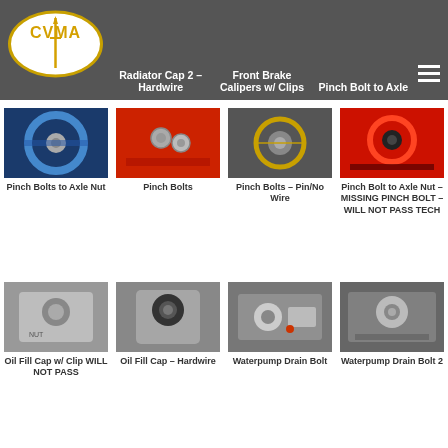CVMA – Hardwire | Radiator Cap 2 – Hardwire | Front Brake Calipers w/ Clips | Pinch Bolt to Axle
[Figure (photo): Pinch Bolts to Axle Nut – blue wheel/axle close-up]
Pinch Bolts to Axle Nut
[Figure (photo): Pinch Bolts – red motorcycle component close-up]
Pinch Bolts
[Figure (photo): Pinch Bolts – Pin/No Wire – disc brake close-up]
Pinch Bolts – Pin/No Wire
[Figure (photo): Pinch Bolt to Axle Nut – MISSING PINCH BOLT – WILL NOT PASS TECH – red axle nut close-up]
Pinch Bolt to Axle Nut – MISSING PINCH BOLT – WILL NOT PASS TECH
[Figure (photo): Oil Fill Cap w/ Clip WILL NOT PASS – gray engine close-up]
Oil Fill Cap w/ Clip WILL NOT PASS
[Figure (photo): Oil Fill Cap – Hardwire – engine close-up]
Oil Fill Cap – Hardwire
[Figure (photo): Waterpump Drain Bolt – engine close-up]
Waterpump Drain Bolt
[Figure (photo): Waterpump Drain Bolt 2 – engine close-up]
Waterpump Drain Bolt 2